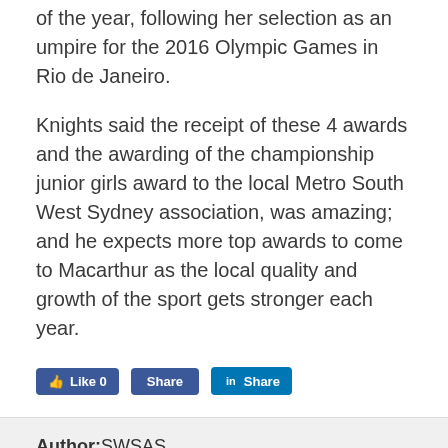of the year, following her selection as an umpire for the 2016 Olympic Games in Rio de Janeiro.
Knights said the receipt of these 4 awards and the awarding of the championship junior girls award to the local Metro South West Sydney association, was amazing; and he expects more top awards to come to Macarthur as the local quality and growth of the sport gets stronger each year.
[Figure (other): Social sharing buttons: Facebook Like 0, Share, LinkedIn Share]
Author:SWSAS